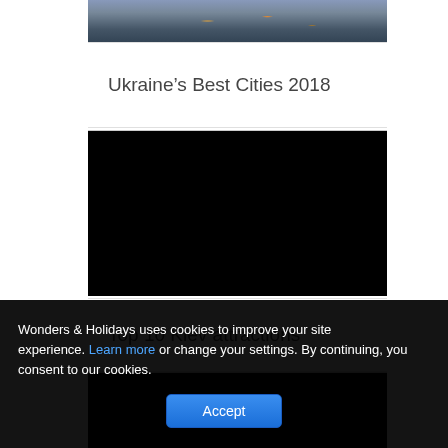[Figure (photo): Partial top image of a city waterfront at night with reflections on water — blue and gold tones]
Ukraine’s Best Cities 2018
[Figure (screenshot): Black video player placeholder (embedded video)]
Top 10 Kiev attractions
[Figure (screenshot): Black video player placeholder (embedded video)]
Wonders & Holidays uses cookies to improve your site experience. Learn more or change your settings. By continuing, you consent to our cookies.